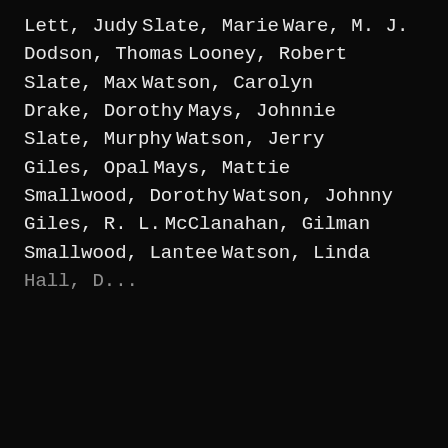Lett, Judy
Slate, Marie
Ware, M. J.
Dodson, Thomas
Looney, Robert
Slate, Max
Watson, Carolyn
Drake, Dorothy
Mays, Johnnie
Slate, Murphy
Watson, Jerry
Giles, Opal
Mays, Mattie
Smallwood, Dorothy
Watson, Johnny
Giles, R. L.
McClanahan, Gilman
Smallwood, Lantee
Watson, Linda
Hall, D...